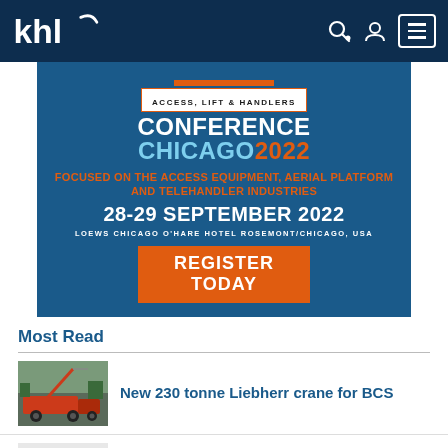khl
[Figure (infographic): Access, Lift & Handlers Conference Chicago 2022 advertisement banner. Text: FOCUSED ON THE ACCESS EQUIPMENT, AERIAL PLATFORM AND TELEHANDLER INDUSTRIES. 28-29 SEPTEMBER 2022. LOEWS CHICAGO O'HARE HOTEL ROSEMONT/CHICAGO, USA. REGISTER TODAY button.]
Most Read
[Figure (photo): Red Liebherr crane truck photographed outdoors]
New 230 tonne Liebherr crane for BCS
[Figure (photo): Electric traction motor component, silver metallic, cross-section view]
New electric traction motors from Mahle